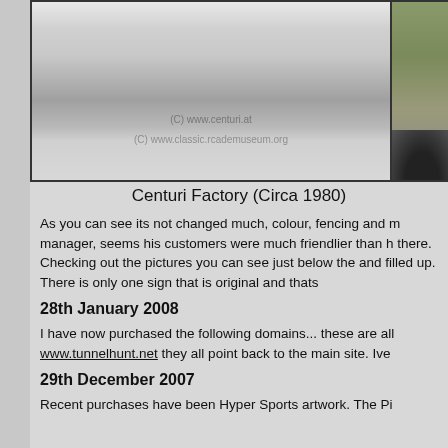[Figure (photo): Black and white photograph of the Centuri Factory building circa 1980, showing a commercial building with palm trees and a parking area. Two watermarks visible: '(C) www.centuri.at' and '(C) www.classic.rcademuseum.org'. A partial color photo of a parking lot with a red vehicle is visible to the right.]
Centuri Factory (Circa 1980)
As you can see its not changed much, colour, fencing and m manager, seems his customers were much friendlier than h there. Checking out the pictures you can see just below the and filled up. There is only one sign that is original and thats
28th January 2008
I have now purchased the following domains... these are all www.tunnelhunt.net they all point back to the main site. Ive
29th December 2007
Recent purchases have been Hyper Sports artwork. The Pi